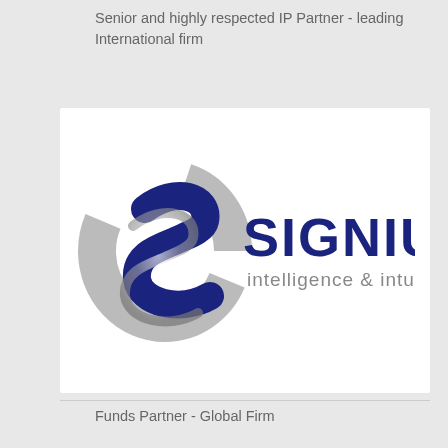Senior and highly respected IP Partner - leading International firm
[Figure (logo): Signium intelligence & intuition logo — metallic S-shaped symbol with dark navy SIGNIUM text and grey subtitle]
Funds Partner - Global Firm
[Figure (logo): Signium intelligence & intuition logo (partially visible, cropped at bottom)]